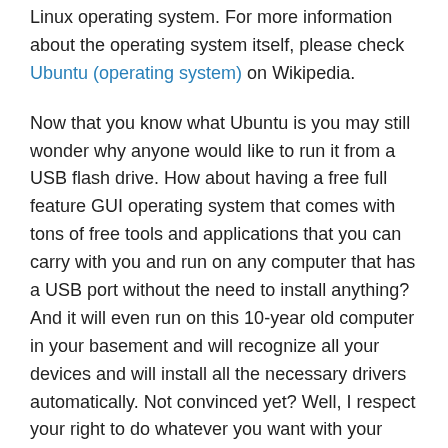Linux operating system. For more information about the operating system itself, please check Ubuntu (operating system) on Wikipedia.
Now that you know what Ubuntu is you may still wonder why anyone would like to run it from a USB flash drive. How about having a free full feature GUI operating system that comes with tons of free tools and applications that you can carry with you and run on any computer that has a USB port without the need to install anything? And it will even run on this 10-year old computer in your basement and will recognize all your devices and will install all the necessary drivers automatically. Not convinced yet? Well, I respect your right to do whatever you want with your time – go check what your friends are doing on Facebook or waste couple of hours on Minecraft. If on the other hand you are curious or stubborn enough to keep reading I will show you how to install Ubuntu on USB flash drive in few easy steps.
I will be doing this from Windows. I have 8GB USB flash drive and part of it will be used to host Ubuntu and the